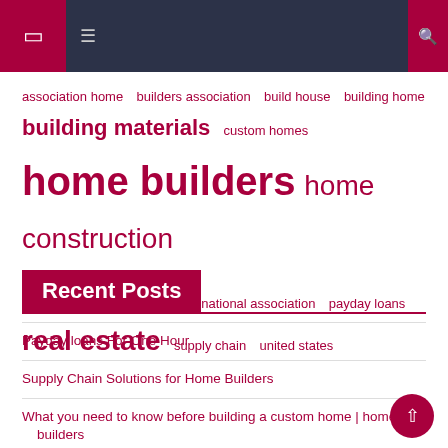Navigation header bar with icons
association home  builders association  build house  building home  building materials  custom homes  home builders  home construction  house design  interest rates  national association  payday loans  real estate  supply chain  united states
Recent Posts
Payday loans For One Hour
Supply Chain Solutions for Home Builders
What you need to know before building a custom home | home builders